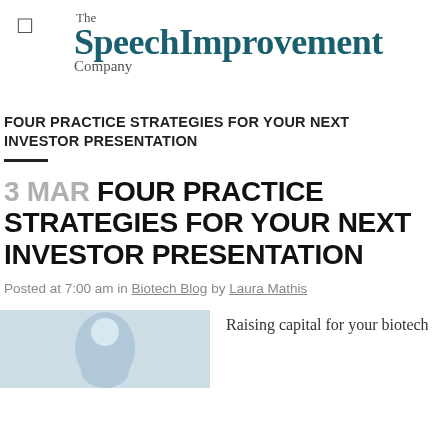The SpeechImprovement Company
FOUR PRACTICE STRATEGIES FOR YOUR NEXT INVESTOR PRESENTATION
3 MAR FOUR PRACTICE STRATEGIES FOR YOUR NEXT INVESTOR PRESENTATION
Posted at 7:00 am in Biotech Blog by Laura Mathis
[Figure (photo): A person photo, partially visible at bottom left]
Raising capital for your biotech